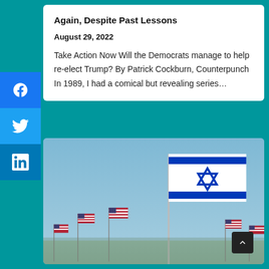Again, Despite Past Lessons
August 29, 2022
Take Action Now Will the Democrats manage to help re-elect Trump? By Patrick Cockburn, Counterpunch In 1989, I had a comical but revealing series…
[Figure (photo): Photo of Israeli flag flying prominently in the foreground with multiple American flags in the background against a blue sky]